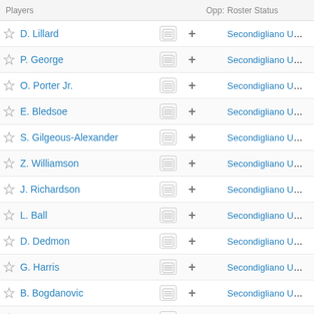| Players |  |  | Opp: | Roster Status | GP* | Pre-Se |
| --- | --- | --- | --- | --- | --- | --- |
| D. Lillard | ☰ | + |  | Secondigliano US... | 66 |  |
| P. George | ☰ | + |  | Secondigliano US... | 48 |  |
| O. Porter Jr. | ☰ | + |  | Secondigliano US... | 14 |  |
| E. Bledsoe | ☰ | + |  | Secondigliano US... | 61 |  |
| S. Gilgeous-Alexander | ☰ | + |  | Secondigliano US... | 70 |  |
| Z. Williamson | ☰ | + |  | Secondigliano US... | 24 |  |
| J. Richardson | ☰ | + |  | Secondigliano US... | 55 |  |
| L. Ball | ☰ | + |  | Secondigliano US... | 63 |  |
| D. Dedmon | ☰ | + |  | Secondigliano US... | 44 |  |
| G. Harris | ☰ | + |  | Secondigliano US... | 56 |  |
| B. Bogdanovic | ☰ | + |  | Secondigliano US... | 63 |  |
| W. Barton | ☰ | + |  | Secondigliano US... | 58 |  |
| M. Fultz | ☰ | + |  | Secondigliano US... | 72 |  |